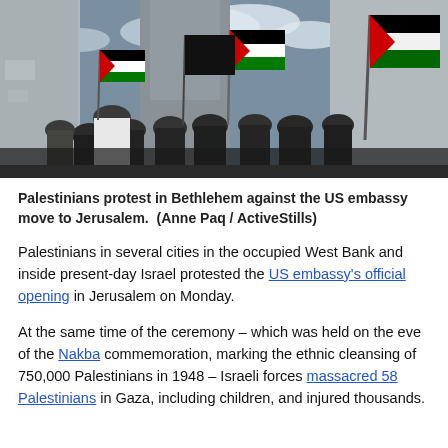[Figure (photo): Crowd of protesters in Bethlehem waving Palestinian flags and black flags near a large concrete wall under a partly cloudy sky.]
Palestinians protest in Bethlehem against the US embassy move to Jerusalem.  (Anne Paq / ActiveStills)
Palestinians in several cities in the occupied West Bank and inside present-day Israel protested the US embassy's official opening in Jerusalem on Monday.
At the same time of the ceremony – which was held on the eve of the Nakba commemoration, marking the ethnic cleansing of 750,000 Palestinians in 1948 – Israeli forces massacred 58 Palestinians in Gaza, including children, and injured thousands.